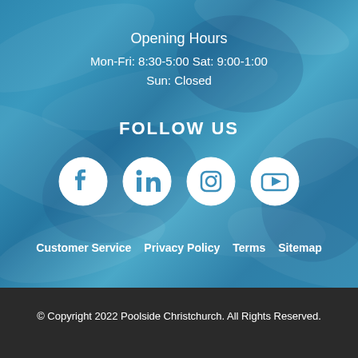Opening Hours
Mon-Fri: 8:30-5:00 Sat: 9:00-1:00
Sun: Closed
FOLLOW US
[Figure (illustration): Social media icons: Facebook, LinkedIn, Instagram, YouTube — white circular icons on blue water background]
Customer Service   Privacy Policy   Terms   Sitemap
© Copyright 2022 Poolside Christchurch. All Rights Reserved.